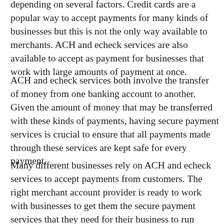depending on several factors. Credit cards are a popular way to accept payments for many kinds of businesses but this is not the only way available to merchants. ACH and echeck services are also available to accept as payment for businesses that work with large amounts of payment at once.
ACH and echeck services both involve the transfer of money from one banking account to another. Given the amount of money that may be transferred with these kinds of payments, having secure payment services is crucial to ensure that all payments made through these services are kept safe for every payment.
Many different businesses rely on ACH and echeck services to accept payments from customers. The right merchant account provider is ready to work with businesses to get them the secure payment services that they need for their business to run successfully by keeping customers' information safe while ensuring a quick transfer of money with every payment.